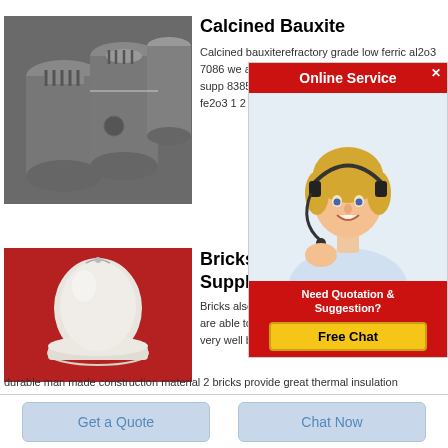[Figure (photo): Graphite electrode rods, dark grey cylindrical industrial components]
Calcined Bauxite
Calcined bauxiterefractory grade low ferric al2o3 7086 we are bauxite of indian or bauxite in our supp 8385 alumina 3 0 fe alumina 4 fe2o3 1 5 fe2o3 1 2 cao
[Figure (photo): White powder substance in a container on a red background, likely refractory material]
Bricks Manufa Suppliers Dea
Bricks also have se construction materi buildings are able to withstand wear pressure or damage very well bricks are the most durable man made construction material 2 bricks provide great thermal insulation
[Figure (other): Online Service chat widget with a customer service representative wearing a headset, and a Free Chat button]
Get a Quote
Chat Now